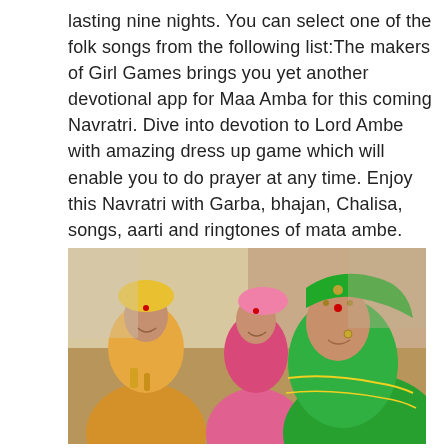lasting nine nights. You can select one of the folk songs from the following list:The makers of Girl Games brings you yet another devotional app for Maa Amba for this coming Navratri. Dive into devotion to Lord Ambe with amazing dress up game which will enable you to do prayer at any time. Enjoy this Navratri with Garba, bhajan, Chalisa, songs, aarti and ringtones of mata ambe.
[Figure (photo): Three young women in traditional Indian Navratri attire with colorful embroidered clothing, head coverings, and traditional jewelry including nose rings and maang tikka, smiling at the camera.]